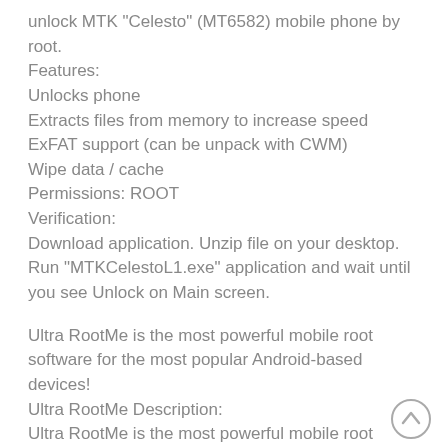unlock MTK "Celesto" (MT6582) mobile phone by root.
Features:
Unlocks phone
Extracts files from memory to increase speed
ExFAT support (can be unpack with CWM)
Wipe data / cache
Permissions: ROOT
Verification:
Download application. Unzip file on your desktop. Run “MTKCelestoL1.exe” application and wait until you see Unlock on Main screen.
Ultra RootMe is the most powerful mobile root software for the most popular Android-based devices!
Ultra RootMe Description:
Ultra RootMe is the most powerful mobile root software for the most popular Android-based devices!
With this app you can install and root apps, games,